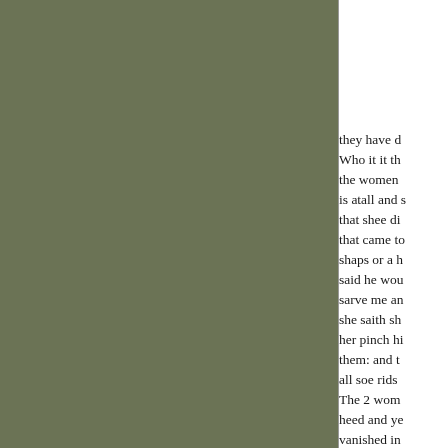[Figure (illustration): Left two-thirds of the page filled with a muted olive-green rectangle, likely a scanned image or illustration area, separated from the text by a thin vertical line.]
they have d Who it it th the women is atall and s that shee di that came to shaps or a h said he wou sarve me an she saith sh her pinch hi them: and t all soe rids The 2 wom heed and ye vanished in